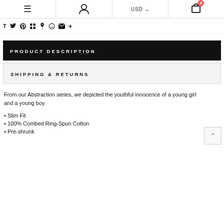≡  (person icon)  USD  (cart icon) 0
[Figure (other): Row of social media icons: T, Twitter bird, Pinterest, grid, thumbtack, smiley, envelope, plus]
PRODUCT DESCRIPTION
SHIPPING & RETURNS
From our Abstraction series, we depicted the youthful innocence of a young girl and a young boy.
• Slim Fit
• 100% Combed Ring-Spun Cotton
• Pre-shrunk